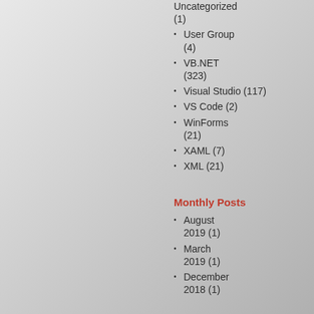Uncategorized (1)
User Group (4)
VB.NET (323)
Visual Studio (117)
VS Code (2)
WinForms (21)
XAML (7)
XML (21)
Monthly Posts
August 2019 (1)
March 2019 (1)
December 2018 (1)